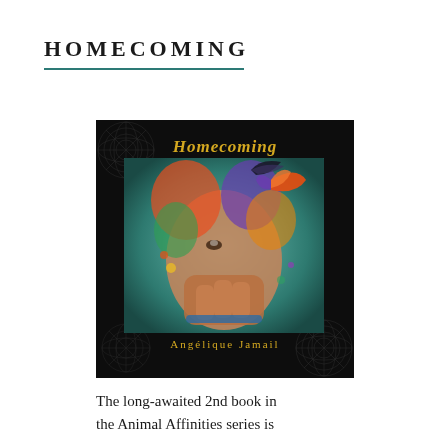HOMECOMING
[Figure (illustration): Book cover for 'Homecoming' by Angélique Jamail. Dark background with mandala patterns. Center image shows a colorful, surreal portrait of a woman with hands raised to her face, surrounded by butterflies and birds in vivid colors. Title 'Homecoming' in gold serif text at the top of the cover. Author name 'Angélique Jamail' in gold text near the bottom.]
The long-awaited 2nd book in the Animal Affinities series is